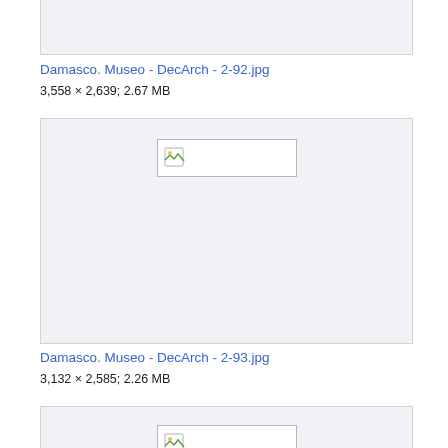[Figure (other): Broken/loading image placeholder box (top, cropped) for Damasco. Museo - DecArch - 2-92.jpg]
Damasco. Museo - DecArch - 2-92.jpg
3,558 × 2,639; 2.67 MB
[Figure (other): Broken/loading image placeholder box for Damasco. Museo - DecArch - 2-93.jpg]
Damasco. Museo - DecArch - 2-93.jpg
3,132 × 2,585; 2.26 MB
[Figure (other): Broken/loading image placeholder box (bottom, cropped) for next image]